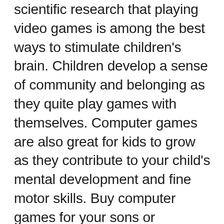scientific research that playing video games is among the best ways to stimulate children's brain. Children develop a sense of community and belonging as they quite play games with themselves. Computer games are also great for kids to grow as they contribute to your child's mental development and fine motor skills. Buy computer games for your sons or daughters and watch how they stimulate the minds of men. Children will become engaged in whatever they play. They enjoy different activities such as arcade, card, board, maths, memory and puzzle game titles. There is sure to be a game to interest your children so much that they'll want perform it day long.